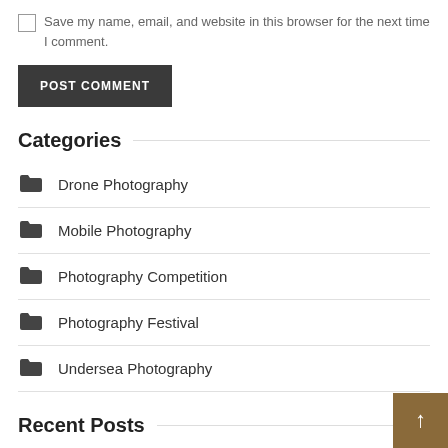Save my name, email, and website in this browser for the next time I comment.
POST COMMENT
Categories
Drone Photography
Mobile Photography
Photography Competition
Photography Festival
Undersea Photography
Recent Posts